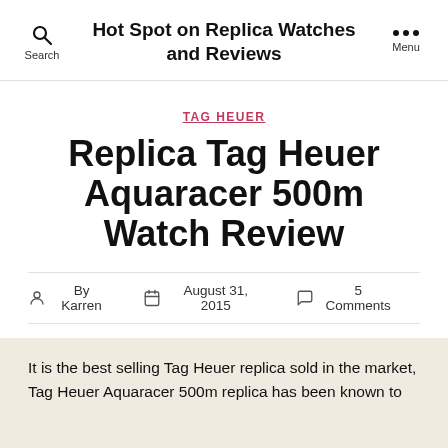Hot Spot on Replica Watches and Reviews
TAG HEUER
Replica Tag Heuer Aquaracer 500m Watch Review
By Karren  August 31, 2015  5 Comments
It is the best selling Tag Heuer replica sold in the market, Tag Heuer Aquaracer 500m replica has been known to